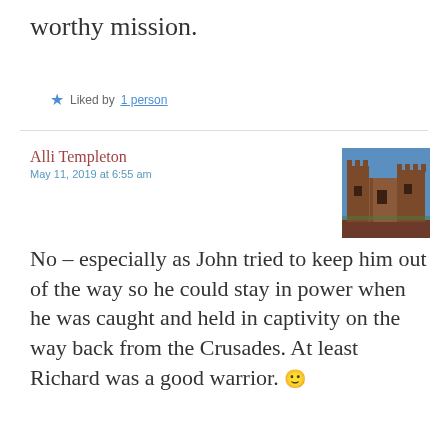worthy mission.
★ Liked by 1 person
Alli Templeton
May 11, 2019 at 6:55 am
[Figure (photo): Photo of a ruined stone castle or fortress against a blue sky, with reddish-brown stone walls and exposed upper sections.]
No – especially as John tried to keep him out of the way so he could stay in power when he was caught and held in captivity on the way back from the Crusades. At least Richard was a good warrior. 🙂